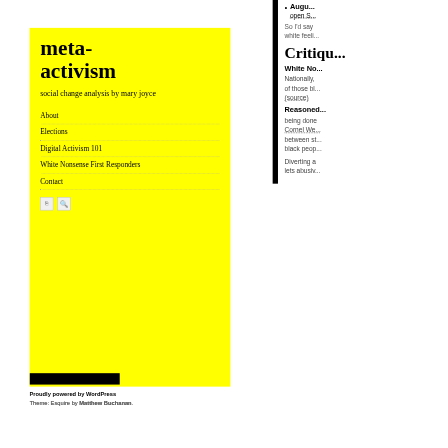meta-activism
social change analysis by mary joyce
About
Elections
Digital Activism 101
White Nonsense First Responders
Contact
Proudly powered by WordPress
Theme: Esquire by Matthew Buchanan.
Augu... open S...
So I'd say white feeli...
Critiqu...
White No...
Nationally, of those bl... (source)
Reasoned...
being done Cornel We... between st... black peop...
Diverting a lets abusiv...